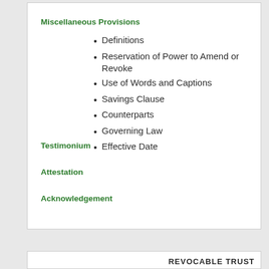Miscellaneous Provisions
Definitions
Reservation of Power to Amend or Revoke
Use of Words and Captions
Savings Clause
Counterparts
Governing Law
Effective Date
Testimonium
Attestation
Acknowledgement
REVOCABLE TRUST